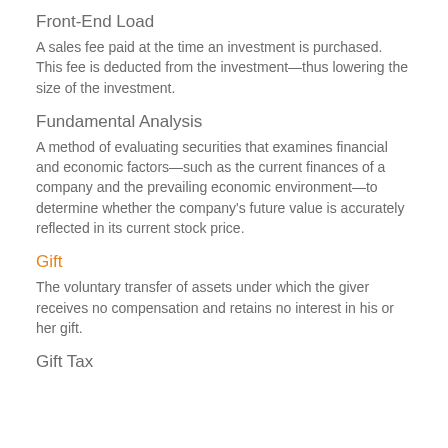Front-End Load
A sales fee paid at the time an investment is purchased. This fee is deducted from the investment—thus lowering the size of the investment.
Fundamental Analysis
A method of evaluating securities that examines financial and economic factors—such as the current finances of a company and the prevailing economic environment—to determine whether the company's future value is accurately reflected in its current stock price.
Gift
The voluntary transfer of assets under which the giver receives no compensation and retains no interest in his or her gift.
Gift Tax